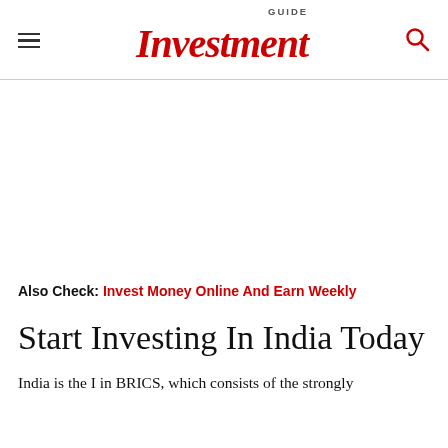Investment GUIDE
Also Check: Invest Money Online And Earn Weekly
Start Investing In India Today
India is the I in BRICS, which consists of the strongly